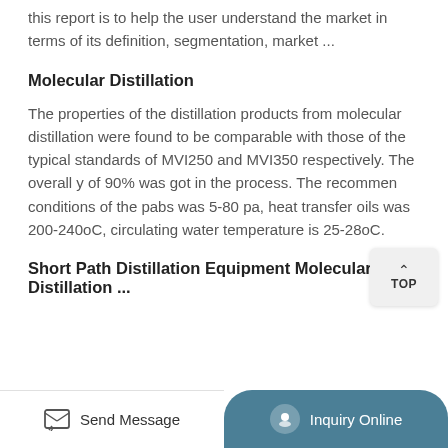this report is to help the user understand the market in terms of its definition, segmentation, market ...
Molecular Distillation
The properties of the distillation products from molecular distillation were found to be comparable with those of the typical standards of MVI250 and MVI350 respectively. The overall y of 90% was got in the process. The recommen conditions of the pabs was 5-80 pa, heat transfer oils was 200-240oC, circulating water temperature is 25-28oC.
Short Path Distillation Equipment Molecular Distillation ...